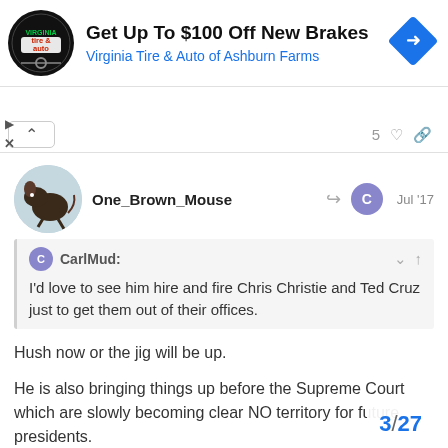[Figure (other): Advertisement banner: Virginia Tire & Auto logo (circular black logo), bold text 'Get Up To $100 Off New Brakes', blue text 'Virginia Tire & Auto of Ashburn Farms', blue diamond arrow icon on right]
5
One_Brown_Mouse   Jul '17
CarlMud:
I'd love to see him hire and fire Chris Christie and Ted Cruz just to get them out of their offices.
Hush now or the jig will be up.
He is also bringing things up before the Supreme Court which are slowly becoming clear NO territory for future presidents.
Still think he's douchey, but he's the sort o
3/27